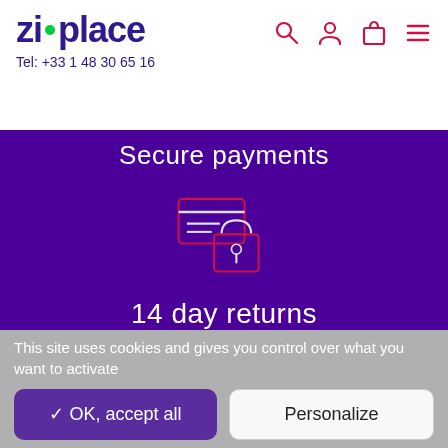zic•place  Tel: +33 1 48 30 65 16
[Figure (screenshot): Purple banner section with 'Secure payments' text at top, credit card with padlock icon in center, and '14 day returns' text below]
This site uses cookies and gives you control over what you want to activate
✓ OK, accept all
Personalize